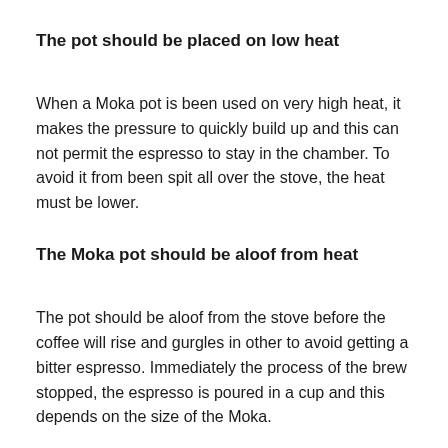The pot should be placed on low heat
When a Moka pot is been used on very high heat, it makes the pressure to quickly build up and this can not permit the espresso to stay in the chamber. To avoid it from been spit all over the stove, the heat must be lower.
The Moka pot should be aloof from heat
The pot should be aloof from the stove before the coffee will rise and gurgles in other to avoid getting a bitter espresso. Immediately the process of the brew stopped, the espresso is poured in a cup and this depends on the size of the Moka.